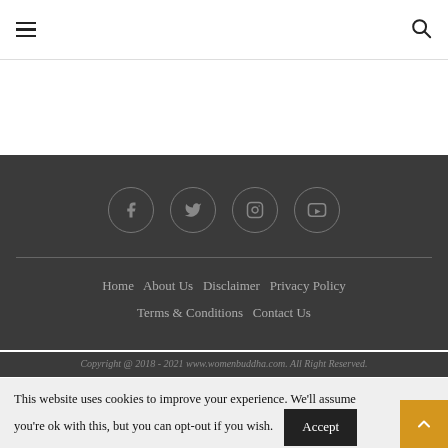≡  [search icon]
[Figure (illustration): Website footer with dark background containing four social media icons (Facebook, Twitter, Instagram, YouTube) in circular borders, a horizontal divider, navigation links (Home, About Us, Disclaimer, Privacy Policy, Terms & Conditions, Contact Us), and copyright text.]
Home   About Us   Disclaimer   Privacy Policy   Terms & Conditions   Contact Us
Copyright @ 2018 - 2021 www.womenbuddha.com. All Right Reserved.
This website uses cookies to improve your experience. We'll assume you're ok with this, but you can opt-out if you wish.
Read More